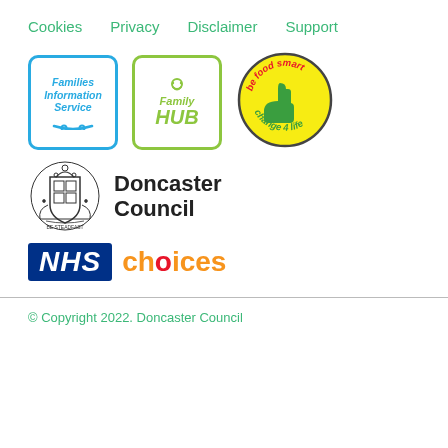Cookies  Privacy  Disclaimer  Support
[Figure (logo): Families Information Service logo - blue rounded rectangle with italic bold text and underline decoration]
[Figure (logo): Family HUB logo - green rounded rectangle with smiley face and italic green text]
[Figure (logo): Be food smart change 4 life - yellow circle with green thumbs up and red/green text]
[Figure (logo): Doncaster Council logo with heraldic crest and bold text]
[Figure (logo): NHS choices logo - NHS in blue box, choices in orange]
© Copyright 2022. Doncaster Council